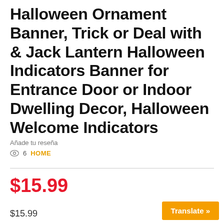Halloween Ornament Banner, Trick or Deal with & Jack Lantern Halloween Indicators Banner for Entrance Door or Indoor Dwelling Decor, Halloween Welcome Indicators
Añade tu reseña
6  HOME
$15.99
$15.99
Translate »